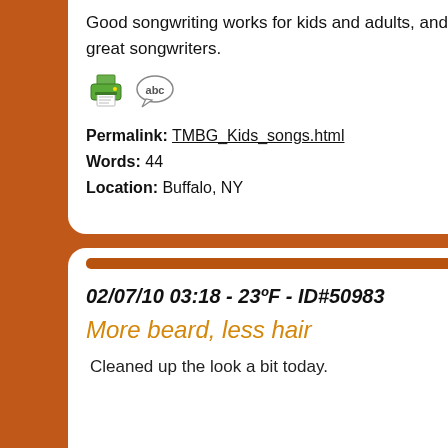Good songwriting works for kids and adults, and They great songwriters.
[Figure (illustration): Print icon (green printer) and ABC speech bubble icon]
Permalink: TMBG_Kids_songs.html
Words: 44
Location: Buffalo, NY
02/07/10 03:18 - 23ºF - ID#50983
More beard, less hair
Cleaned up the look a bit today.
[Figure (photo): Partial photo showing a person's head/hair from a car]